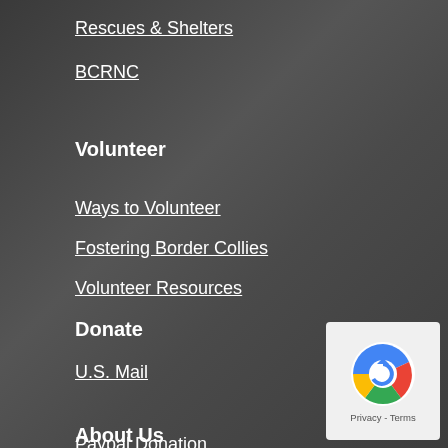Rescues & Shelters
BCRNC
Volunteer
Ways to Volunteer
Fostering Border Collies
Volunteer Resources
Donate
U.S. Mail
Paypal Donation
Amazon Smile
About Us
[Figure (logo): reCAPTCHA badge with circular arrow icon and Privacy - Terms text]